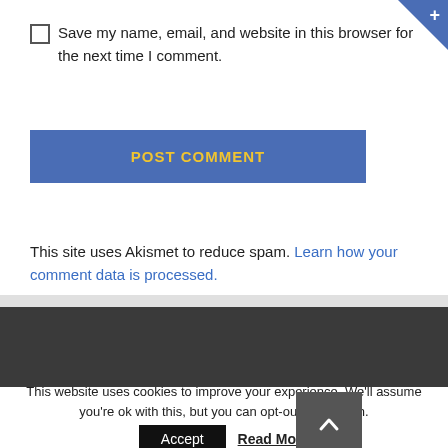Save my name, email, and website in this browser for the next time I comment.
POST COMMENT
This site uses Akismet to reduce spam. Learn how your comment data is processed.
This website uses cookies to improve your experience. We'll assume you're ok with this, but you can opt-out if you wish. Accept  Read More